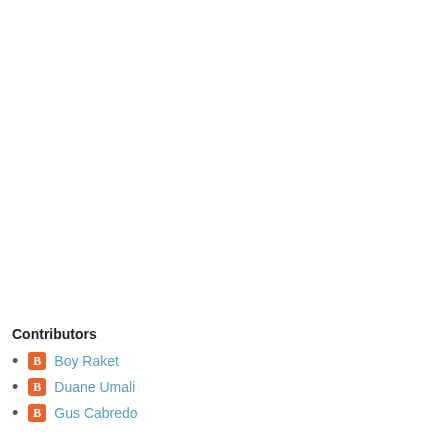Contributors
Boy Raket
Duane Umali
Gus Cabredo